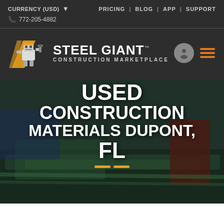CURRENCY (USD) ▼   PRICING | BLOG | APP | SUPPORT   ☎ 772-205-4882
[Figure (logo): Steel Giant Construction Marketplace logo with robot mascot holding hammer, orange and white color scheme, plus user account icon and hamburger menu icon in orange]
USED CONSTRUCTION MATERIALS DUPONT, FL